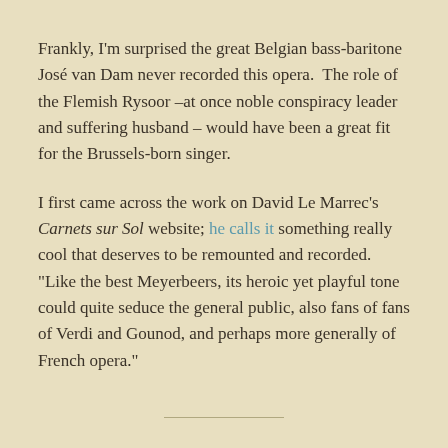Frankly, I'm surprised the great Belgian bass-baritone José van Dam never recorded this opera.  The role of the Flemish Rysoor –at once noble conspiracy leader and suffering husband – would have been a great fit for the Brussels-born singer.
I first came across the work on David Le Marrec's Carnets sur Sol website; he calls it something really cool that deserves to be remounted and recorded.  "Like the best Meyerbeers, its heroic yet playful tone could quite seduce the general public, also fans of fans of Verdi and Gounod, and perhaps more generally of French opera."